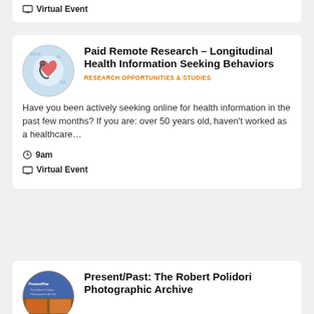Virtual Event
Paid Remote Research – Longitudinal Health Information Seeking Behaviors
RESEARCH OPPORTUNITIES & STUDIES
Have you been actively seeking online for health information in the past few months? If you are: over 50 years old, haven't worked as a healthcare…
9am
Virtual Event
Present/Past: The Robert Polidori Photographic Archive